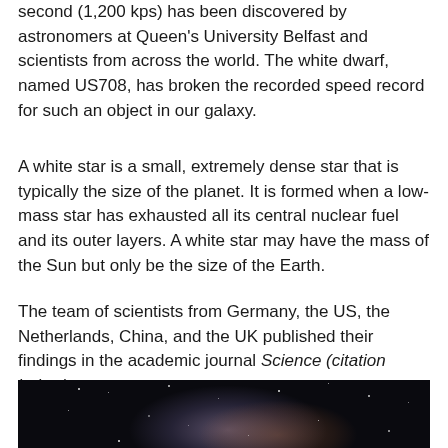second (1,200 kps) has been discovered by astronomers at Queen's University Belfast and scientists from across the world. The white dwarf, named US708, has broken the recorded speed record for such an object in our galaxy.
A white star is a small, extremely dense star that is typically the size of the planet. It is formed when a low-mass star has exhausted all its central nuclear fuel and its outer layers. A white star may have the mass of the Sun but only be the size of the Earth.
The team of scientists from Germany, the US, the Netherlands, China, and the UK published their findings in the academic journal Science (citation below).
[Figure (photo): Astronomical photograph showing a dark night sky with stars and a nebula in the background. A bright blue-white star or light source is visible in the lower-left area of the image.]